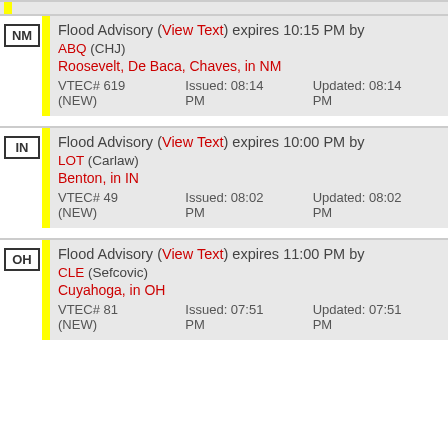NM Flood Advisory (View Text) expires 10:15 PM by ABQ (CHJ) Roosevelt, De Baca, Chaves, in NM VTEC# 619 (NEW) Issued: 08:14 PM Updated: 08:14 PM
IN Flood Advisory (View Text) expires 10:00 PM by LOT (Carlaw) Benton, in IN VTEC# 49 (NEW) Issued: 08:02 PM Updated: 08:02 PM
OH Flood Advisory (View Text) expires 11:00 PM by CLE (Sefcovic) Cuyahoga, in OH VTEC# 81 (NEW) Issued: 07:51 PM Updated: 07:51 PM